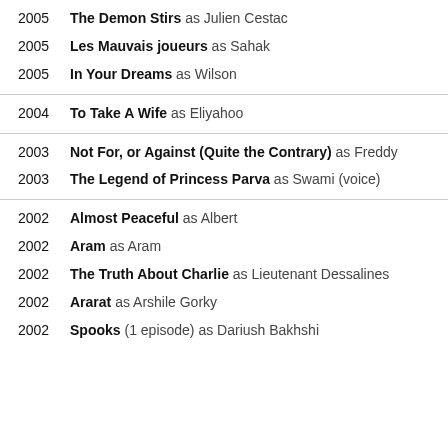2005  The Demon Stirs as Julien Cestac
2005  Les Mauvais joueurs as Sahak
2005  In Your Dreams as Wilson
2004  To Take A Wife as Eliyahoo
2003  Not For, or Against (Quite the Contrary) as Freddy
2003  The Legend of Princess Parva as Swami (voice)
2002  Almost Peaceful as Albert
2002  Aram as Aram
2002  The Truth About Charlie as Lieutenant Dessalines
2002  Ararat as Arshile Gorky
2002  Spooks (1 episode) as Dariush Bakhshi